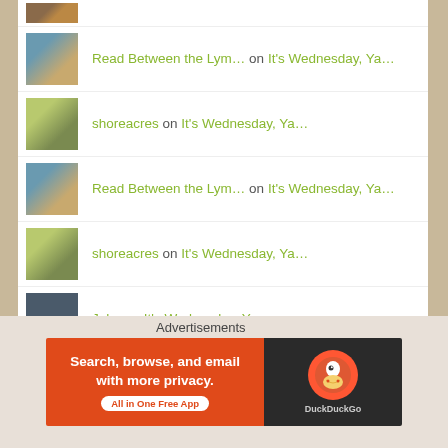Read Between the Lym... on It's Wednesday, Ya...
shoreacres on It's Wednesday, Ya...
Read Between the Lym... on It's Wednesday, Ya...
shoreacres on It's Wednesday, Ya...
John on It's Wednesday, Ya...
Read Between the Lym... on It's Wednesday, Ya...
Advertisements
[Figure (screenshot): DuckDuckGo advertisement banner: orange left side with text 'Search, browse, and email with more privacy. All in One Free App' and dark right side with DuckDuckGo duck logo]